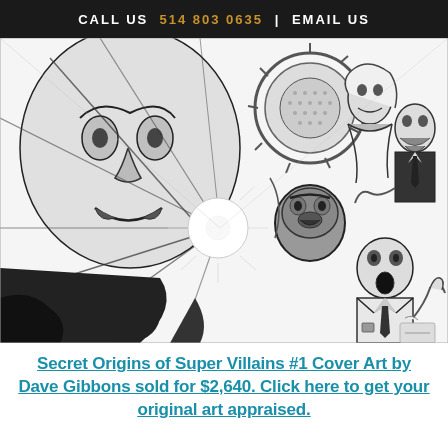CALL US  514 803 0635  |  EMAIL US
[Figure (illustration): Black and white comic book cover art showing dramatic superhero/villain scene with multiple characters including a large face with intense expression in the upper left, radiating light burst in the center, a gorilla-like figure, and several suited characters on the right side. Art by Dave Gibbons for Secret Origins of Super Villains #1.]
Secret Origins of Super Villains #1 Cover Art by Dave Gibbons sold for $2,640. Click here to get your original art appraised.